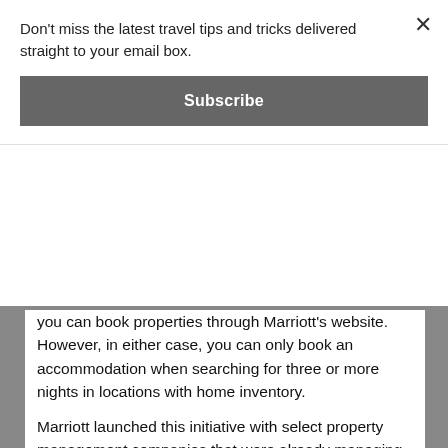Don't miss the latest travel tips and tricks delivered straight to your email box.
Subscribe
you can book properties through Marriott's website. However, in either case, you can only book an accommodation when searching for three or more nights in locations with home inventory.
Marriott launched this initiative with select property management companies that were already managing these homes (e.g. TurnKey Vacation Rentals, LaCure, Veeve, London Residents Club, etc.)
Again, Homes & Villas by Marriott offers more